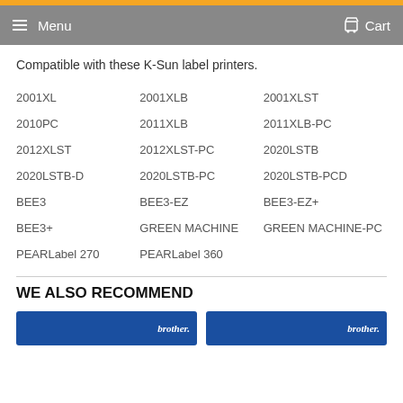Menu | Cart
Compatible with these K-Sun label printers.
2001XL
2001XLB
2001XLST
2010PC
2011XLB
2011XLB-PC
2012XLST
2012XLST-PC
2020LSTB
2020LSTB-D
2020LSTB-PC
2020LSTB-PCD
BEE3
BEE3-EZ
BEE3-EZ+
BEE3+
GREEN MACHINE
GREEN MACHINE-PC
PEARLabel 270
PEARLabel 360
WE ALSO RECOMMEND
[Figure (photo): Brother product thumbnail image]
[Figure (photo): Brother product thumbnail image]